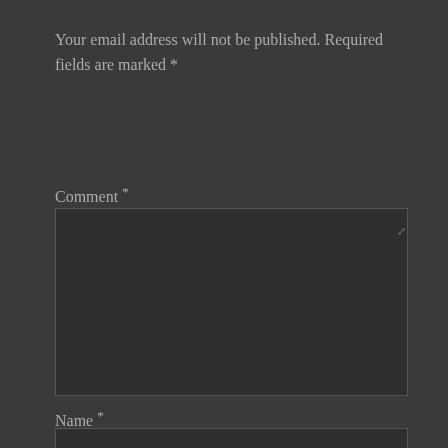Your email address will not be published. Required fields are marked *
Comment *
[Figure (screenshot): Large textarea input box with dark background and resize handle in bottom right corner]
Name *
[Figure (screenshot): Single-line text input box with dark background]